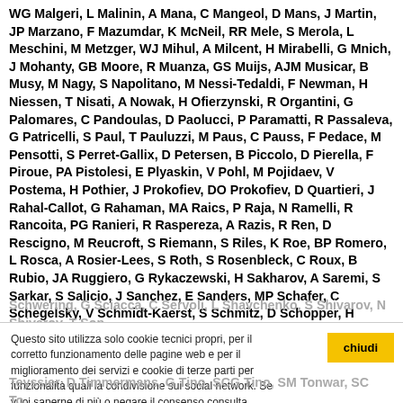WG Malgeri, L Malinin, A Mana, C Mangeol, D Mans, J Martin, JP Marzano, F Mazumdar, K McNeil, RR Mele, S Merola, L Meschini, M Metzger, WJ Mihul, A Milcent, H Mirabelli, G Mnich, J Mohanty, GB Moore, R Muanza, GS Muijs, AJM Musicar, B Musy, M Nagy, S Napolitano, M Nessi-Tedaldi, F Newman, H Niessen, T Nisati, A Nowak, H Ofierzynski, R Organtini, G Palomares, C Pandoulas, D Paolucci, P Paramatti, R Passaleva, G Patricelli, S Paul, T Pauluzzi, M Paus, C Pauss, F Pedace, M Pensotti, S Perret-Gallix, D Petersen, B Piccolo, D Pierella, F Piroue, PA Pistolesi, E Plyaskin, V Pohl, M Pojidaev, V Postema, H Pothier, J Prokofiev, DO Prokofiev, D Quartieri, J Rahal-Callot, G Rahaman, MA Raics, P Raja, N Ramelli, R Rancoita, PG Ranieri, R Raspereza, A Razis, R Ren, D Rescigno, M Reucroft, S Riemann, S Riles, K Roe, BP Romero, L Rosca, A Rosier-Lees, S Roth, S Rosenbleck, C Roux, B Rubio, JA Ruggiero, G Rykaczewski, H Sakharov, A Saremi, S Sarkar, S Salicio, J Sanchez, E Sanders, MP Schafer, C Schegelsky, V Schmidt-Kaerst, S Schmitz, D Schopper, H Schotanus, DJ
Schwering, G Sciacca, C Servoli, L Shavchenko, S Shivaprasad, N Shivarov, T Son, ...
Questo sito utilizza solo cookie tecnici propri, per il corretto funzionamento delle pagine web e per il miglioramento dei servizi e cookie di terze parti per funzionalità quali la condivisione sui social network. Se vuoi saperne di più o negare il consenso consulta l'informativa sulla privacy. Proseguendo la navigazione del sito o cliccando su "chiudi" acconsenti all'uso dei cookie.
Teyssier, D Timmermans, G Tino, SCG Tino, SM Tonwar, SC To...